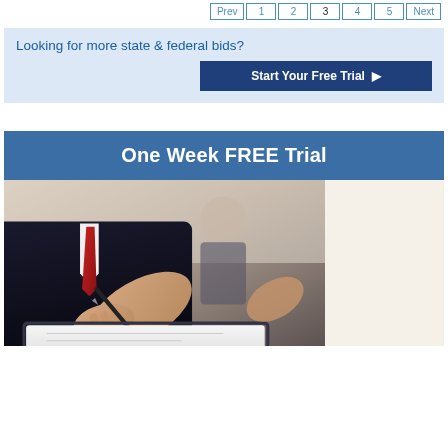Prev 1 2 3 4 5 Next
Looking for more state & federal bids?
Start Your Free Trial ▶
One Week FREE Trial
[Figure (photo): Two businessmen in suits, one signing a document with a pen in the foreground, another man standing in the background]